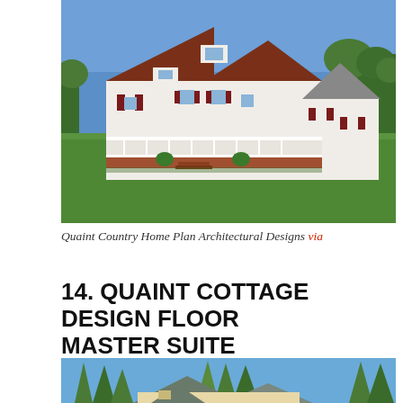[Figure (photo): Exterior photo of a white country farmhouse with dark red shutters, wraparound porch with white railings, dark brown roof with multiple gables, connected to a secondary structure, set on a green lawn with trees, blue sky background.]
Quaint Country Home Plan Architectural Designs via
14. QUAINT COTTAGE DESIGN FLOOR MASTER SUITE
[Figure (photo): Partial exterior photo of a cottage-style home with green-gray roof, multiple gables, yellow siding, surrounded by tall pine trees, blue sky.]